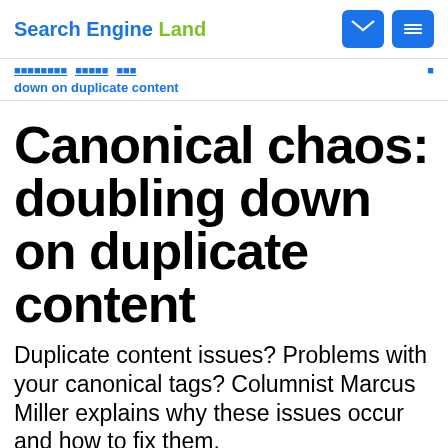Search Engine Land
down on duplicate content
Canonical chaos: doubling down on duplicate content
Duplicate content issues? Problems with your canonical tags? Columnist Marcus Miller explains why these issues occur and how to fix them.